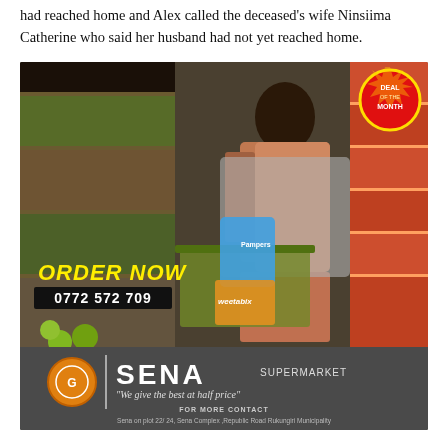had reached home and Alex called the deceased's wife Ninsiima Catherine who said her husband had not yet reached home.
[Figure (photo): Advertisement for Sena Supermarket showing a woman shopping in a supermarket with a cart full of groceries. Text overlay reads 'ORDER NOW 0772 572 709' in bold yellow/white. A 'Deal of the Month' badge appears in the top right. Bottom banner shows Sena Supermarket logo and tagline 'We give the best at half price' with contact details: Sena on plot 22/24, Sena Complex, Republic Road Rukungiri Municipality.]